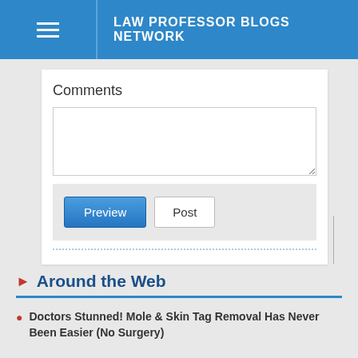LAW PROFESSOR BLOGS NETWORK
Comments
[Comment text area]
Preview | Post
Around the Web
Doctors Stunned! Mole & Skin Tag Removal Has Never Been Easier (No Surgery)